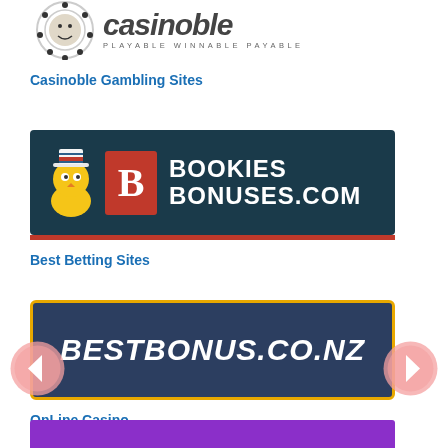[Figure (logo): Casinoble logo with mascot character, text 'Casinoble' and tagline 'PLAYABLE WINNABLE PAYABLE']
Casinoble Gambling Sites
[Figure (logo): BookiesBonuses.com banner with dark teal background, mascot with top hat, red B box, and white text 'BOOKIES BONUSES.COM']
Best Betting Sites
[Figure (logo): BestBonus.co.nz banner with dark navy background and gold border, italic white text 'BESTBONUS.CO.NZ']
OnLine Casino
[Figure (other): Purple/violet banner at bottom of page (partially visible)]
[Figure (other): Left navigation arrow (previous), pink/salmon circle with left arrow]
[Figure (other): Right navigation arrow (next), pink/salmon circle with right arrow]